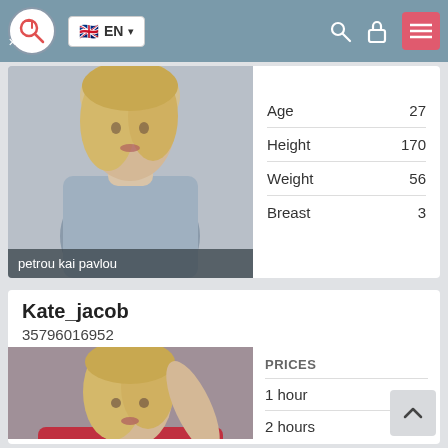EN
petrou kai pavlou
|  |  |
| --- | --- |
| Age | 27 |
| Height | 170 |
| Weight | 56 |
| Breast | 3 |
Kate_jacob
35796016952
| PRICES |  |
| --- | --- |
| 1 hour | 150 |
| 2 hours | 300 |
| overnight | no |
|  |  |
| --- | --- |
| Age | 24 |
| Height | 172 |
| Weight | 56 |